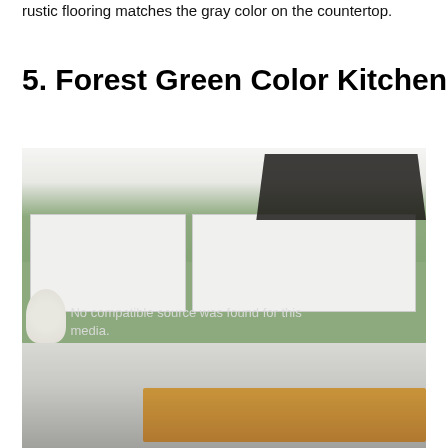rustic flooring matches the gray color on the countertop.
5. Forest Green Color Kitchen
[Figure (photo): A forest green kitchen with white cabinets, green walls, copper pots hanging from a black pot rack, a kitchen island with wood countertop, white flowers in a pitcher, and items on the counter. A watermark reads 'No compatible source was found for this media.']